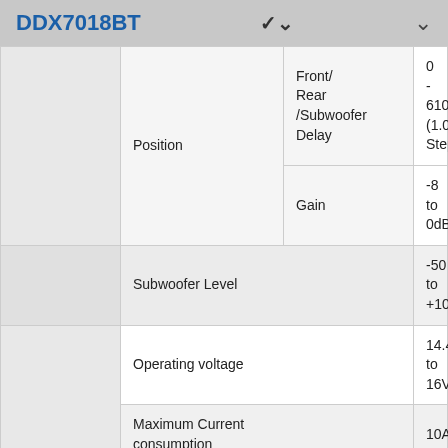DDX7018BT
| Category | Sub-category | Detail | Value |
| --- | --- | --- | --- |
|  | Position | Front/Rear/Subwoofer Delay | 0 - 610cm (1.0cm Step) |
|  | Position | Gain | -8 to 0dB |
|  | Subwoofer Level |  | -50 to +10dB |
| General | Operating voltage |  | 14.4V(10.5V to 16V) |
| General | Maximum Current consumption |  | 10A |
| General | Installation Dimensions WxHxD |  | 178mm x 100mm x 162mm |
| General | Operational temperature range |  | -10°C to +60°C |